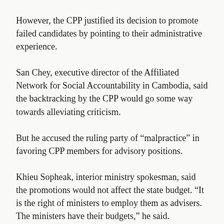However, the CPP justified its decision to promote failed candidates by pointing to their administrative experience.
San Chey, executive director of the Affiliated Network for Social Accountability in Cambodia, said the backtracking by the CPP would go some way towards alleviating criticism.
But he accused the ruling party of “malpractice” in favoring CPP members for advisory positions.
Khieu Sopheak, interior ministry spokesman, said the promotions would not affect the state budget. “It is the right of ministers to employ them as advisers. The ministers have their budgets,” he said.